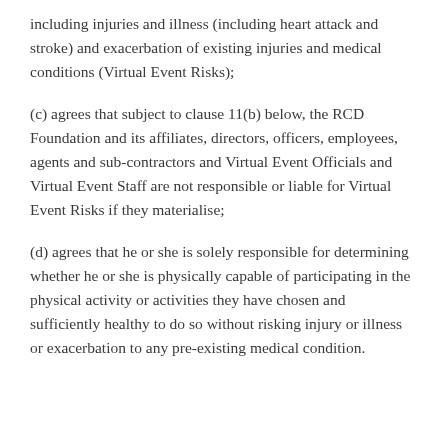including injuries and illness (including heart attack and stroke) and exacerbation of existing injuries and medical conditions (Virtual Event Risks);
(c) agrees that subject to clause 11(b) below, the RCD Foundation and its affiliates, directors, officers, employees, agents and sub-contractors and Virtual Event Officials and Virtual Event Staff are not responsible or liable for Virtual Event Risks if they materialise;
(d) agrees that he or she is solely responsible for determining whether he or she is physically capable of participating in the physical activity or activities they have chosen and sufficiently healthy to do so without risking injury or illness or exacerbation to any pre-existing medical condition.